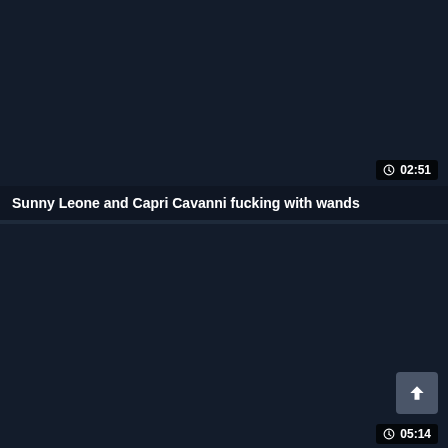[Figure (screenshot): Video thumbnail card showing dark background with duration badge 02:51]
Sunny Leone and Capri Cavanni fucking with wands
[Figure (screenshot): Second video thumbnail card showing dark background with scroll-to-top button and duration badge 05:14]